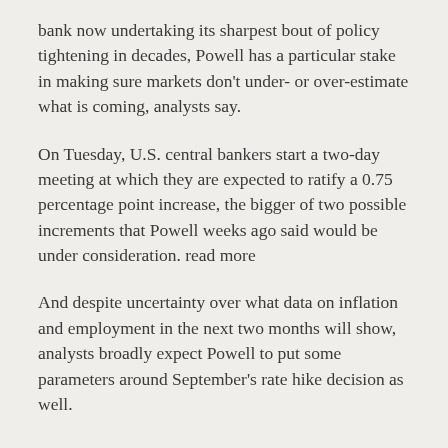bank now undertaking its sharpest bout of policy tightening in decades, Powell has a particular stake in making sure markets don't under- or over-estimate what is coming, analysts say.
On Tuesday, U.S. central bankers start a two-day meeting at which they are expected to ratify a 0.75 percentage point increase, the bigger of two possible increments that Powell weeks ago said would be under consideration. read more
And despite uncertainty over what data on inflation and employment in the next two months will show, analysts broadly expect Powell to put some parameters around September's rate hike decision as well.